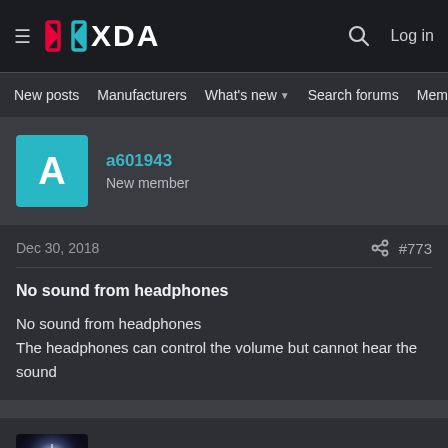XDA — Log in
New posts   Manufacturers   What's new   Search forums   Members   >
a601943
New member
Dec 30, 2018   #773
No sound from headphones
No sound from headphones
The headphones can control the volume but cannot hear the sound
Sander9847
Senior Member